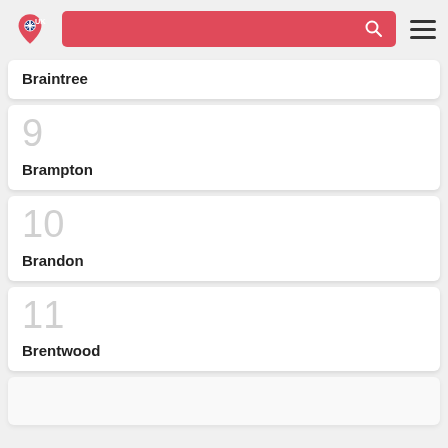UK [logo with search bar and hamburger menu]
Braintree
9 Brampton
10 Brandon
11 Brentwood